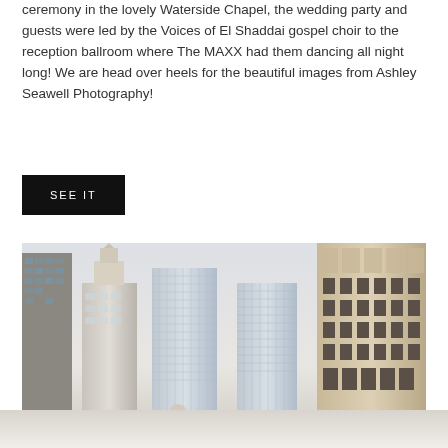ceremony in the lovely Waterside Chapel, the wedding party and guests were led by the Voices of El Shaddai gospel choir to the reception ballroom where The MAXX had them dancing all night long! We are head over heels for the beautiful images from Ashley Seawell Photography!
SEE IT
[Figure (photo): Urban cityscape photo showing tall skyscrapers in a city (Chicago), pale overcast sky, modern glass office towers and historic ornate building on the right. A figure in white is partially visible at the bottom.]